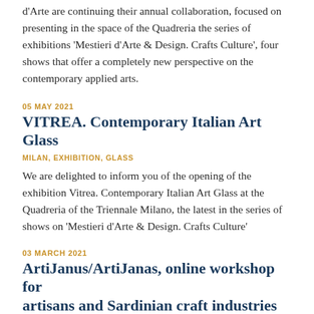d'Arte are continuing their annual collaboration, focused on presenting in the space of the Quadreria the series of exhibitions 'Mestieri d'Arte & Design. Crafts Culture', four shows that offer a completely new perspective on the contemporary applied arts.
05 MAY 2021
VITREA. Contemporary Italian Art Glass
MILAN, EXHIBITION, GLASS
We are delighted to inform you of the opening of the exhibition Vitrea. Contemporary Italian Art Glass at the Quadreria of the Triennale Milano, the latest in the series of shows on 'Mestieri d'Arte & Design. Crafts Culture'
03 MARCH 2021
ArtiJanus/ArtiJanas, online workshop for artisans and Sardinian craft industries
SARDENIA, SEMINARY, DESIGN, DECORATION, COMMUNICATION
ArtiJanus/ArtiJanas is the experimental project of the culture of design and craftsmanship promoted and supported by the Fondazione di Sardegna and the